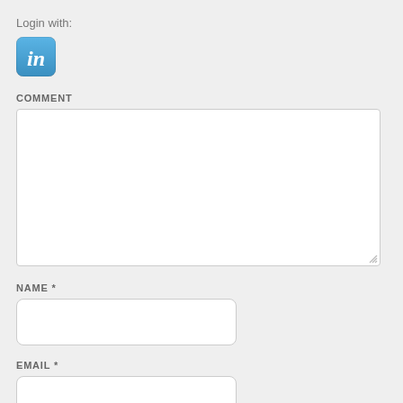Login with:
[Figure (logo): LinkedIn logo button - blue rounded square with white 'in' text]
COMMENT
[Figure (other): Large empty comment textarea input box]
NAME *
[Figure (other): Name text input field]
EMAIL *
[Figure (other): Email text input field]